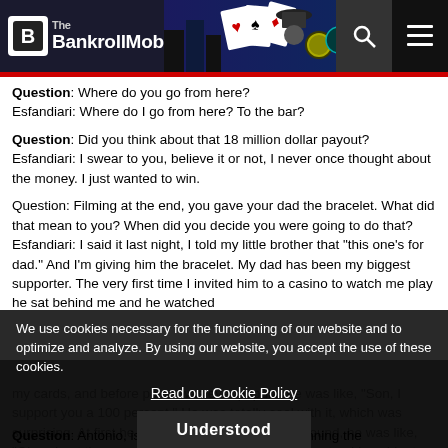The BankrollMob
Question: Where do you go from here?
Esfandiari: Where do I go from here? To the bar?
Question: Did you think about that 18 million dollar payout?
Esfandiari: I swear to you, believe it or not, I never once thought about the money. I just wanted to win.
Question: Filming at the end, you gave your dad the bracelet. What did that mean to you? When did you decide you were going to do that?
Esfandiari: I said it last night, I told my little brother that "this one's for dad." And I'm giving him the bracelet. My dad has been my biggest supporter. The very first time I invited him to a casino to watch me play he sat behind me and he watched my cards, and before poker was ever popular he was like, "Son, I support you a 100 percent." He was totally cool with it, which was surprising. At first he wasn't, but when he came around, he was like, "Okay, I get it." He's been my biggest supporter, I love him to death. He's the greatest man on the planet. He gave up a lot to move us to this country, everything basically. To win this for him, and give him the bracelet, means the world to me. So, I'm going to wear this tonight, but after tonight, it's my dad's bracelet.
We use cookies necessary for the functioning of our website and to optimize and analyze. By using our website, you accept the use of these cookies.
Read our Cookie Policy
Understood
Question: Antonio, is this more important than winning the